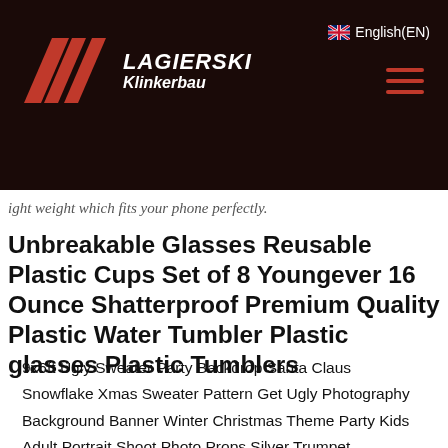Lagierski Klinkerbau — English(EN)
ight weight which fits your phone perfectly.
Unbreakable Glasses Reusable Plastic Cups Set of 8 Youngever 16 Ounce Shatterproof Premium Quality Plastic Water Tumbler Plastic glasses Plastic Tumblers
9x6ft Ugly Sweater Party Backdrop Santa Claus Snowflake Xmas Sweater Pattern Get Ugly Photography Background Banner Winter Christmas Theme Party Kids Adult Portrait Shoot Photo Props Silver Trumpet Mouthpiece Puller Tool Adjustable Mouthpiece Puller Remover for Brass-Wind Instruments Trumpet Trombone Horn